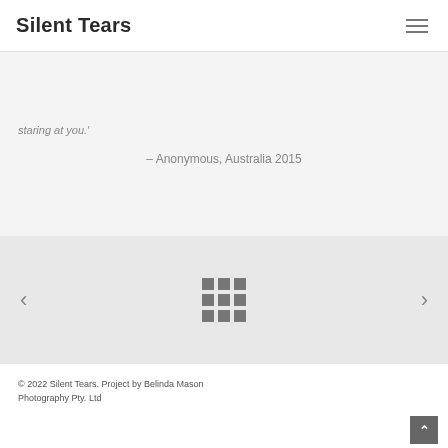Silent Tears
staring at you.'
– Anonymous, Australia 2015
[Figure (other): Navigation section with left arrow, 3x3 grid icon, and right arrow on grey background]
© 2022 Silent Tears. Project by Belinda Mason Photography Pty. Ltd